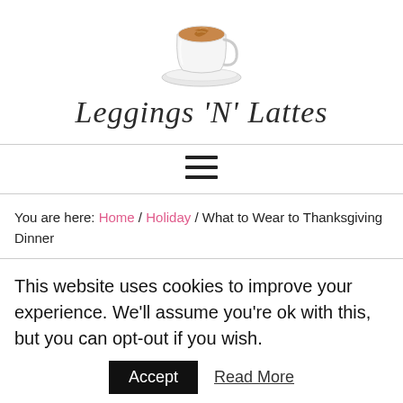[Figure (illustration): Watercolor illustration of a white coffee cup with latte art on a saucer]
Leggings 'N' Lattes
[Figure (other): Hamburger menu icon — three horizontal black lines]
You are here: Home / Holiday / What to Wear to Thanksgiving Dinner
This website uses cookies to improve your experience. We'll assume you're ok with this, but you can opt-out if you wish. Accept  Read More